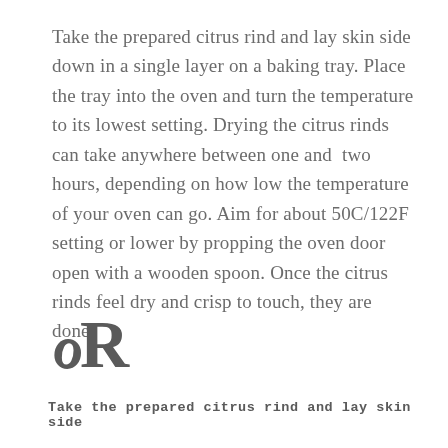Take the prepared citrus rind and lay skin side down in a single layer on a baking tray. Place the tray into the oven and turn the temperature to its lowest setting. Drying the citrus rinds can take anywhere between one and  two hours, depending on how low the temperature of your oven can go. Aim for about 50C/122F setting or lower by propping the oven door open with a wooden spoon. Once the citrus rinds feel dry and crisp to touch, they are done.
[Figure (logo): Stylized 'OR' monogram logo in dark grey serif/decorative font]
Take the prepared citrus rind and lay skin side